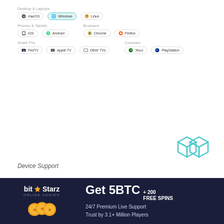[Figure (screenshot): Device support selector showing Desktop & Laptops (macOS, Windows highlighted, Linux), Phones & Tablets (iOS, Android), Browsers (Chrome, Firefox), Smart TVs (FireTV, Apple TV, Other TVs), Consoles (Xbox, PlayStation)]
[Figure (logo): Teal/cyan geometric double-diamond or overlapping hexagons logo]
Device Support
You also get the ability to use the VPN inside the Chrome and Firefox browsers, several types of Smart TVs and Game Consoles.
Note: Although the App list on the website doesn't show
[Figure (infographic): BitStarz Online Casino advertisement banner. Get 5BTC + 200 Free Spins. 24/7 Premium Live Support. Trust by 3.1+ Million Players.]